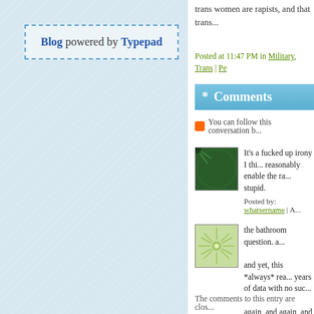[Figure (other): Sidebar with diagonal texture pattern, light blue background]
Blog powered by Typepad
trans women are rapists, and that trans...
Posted at 11:47 PM in Military, Trans | Pe...
* Comments
You can follow this conversation b...
[Figure (illustration): Green spiral pattern avatar]
It's a fucked up irony I thi... reasonably enable the ra... stupid.
Posted by: whatsername | A...
[Figure (illustration): Green starburst pattern avatar]
the bathroom question. a... and yet, this *always* rea... years of data with no suc... again, and again, and ag... and the irony of it is that ...
Posted by: formerCombatO...
The comments to this entry are clos...